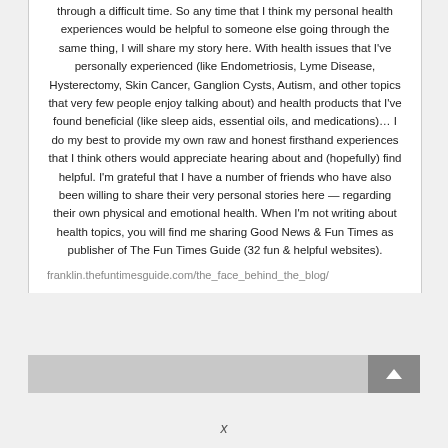through a difficult time. So any time that I think my personal health experiences would be helpful to someone else going through the same thing, I will share my story here. With health issues that I've personally experienced (like Endometriosis, Lyme Disease, Hysterectomy, Skin Cancer, Ganglion Cysts, Autism, and other topics that very few people enjoy talking about) and health products that I've found beneficial (like sleep aids, essential oils, and medications)… I do my best to provide my own raw and honest firsthand experiences that I think others would appreciate hearing about and (hopefully) find helpful. I'm grateful that I have a number of friends who have also been willing to share their very personal stories here — regarding their own physical and emotional health. When I'm not writing about health topics, you will find me sharing Good News & Fun Times as publisher of The Fun Times Guide (32 fun & helpful websites).
franklin.thefuntimesguide.com/the_face_behind_the_blog/